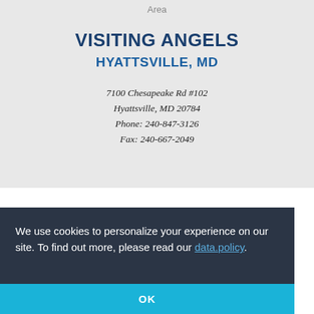Area
VISITING ANGELS
HYATTSVILLE, MD
7100 Chesapeake Rd #102
Hyattsville, MD 20784
Phone: 240-847-3126
Fax: 240-667-2049
We use cookies to personalize your experience on our site. To find out more, please read our data.policy.
OK